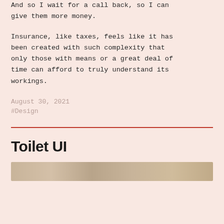And so I wait for a call back, so I can give them more money.
Insurance, like taxes, feels like it has been created with such complexity that only those with means or a great deal of time can afford to truly understand its workings.
August 30, 2021
#Design
Toilet UI
[Figure (photo): A partial image strip showing a textured wooden or natural surface at the bottom of the page]